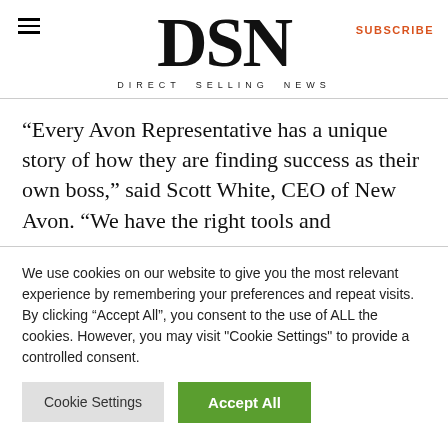DSN — DIRECT SELLING NEWS
“Every Avon Representative has a unique story of how they are finding success as their own boss,” said Scott White, CEO of New Avon. “We have the right tools and
We use cookies on our website to give you the most relevant experience by remembering your preferences and repeat visits. By clicking “Accept All”, you consent to the use of ALL the cookies. However, you may visit "Cookie Settings" to provide a controlled consent.